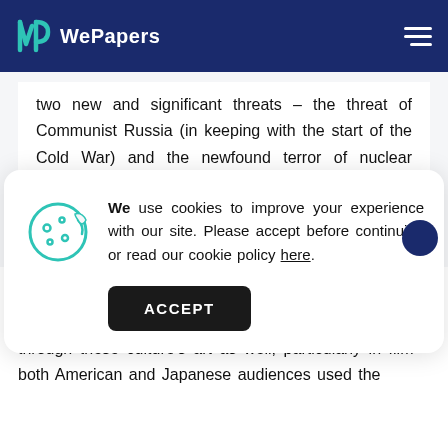WePapers
two new and significant threats – the threat of Communist Russia (in keeping with the start of the Cold War) and the newfound terror of nuclear power and the
We use cookies to improve your experience with our site. Please accept before continuing or read our cookie policy here.
West and East alike.
This cultural and historical tension is demonstrated through these culture's art as well, particularly in film – both American and Japanese audiences used the